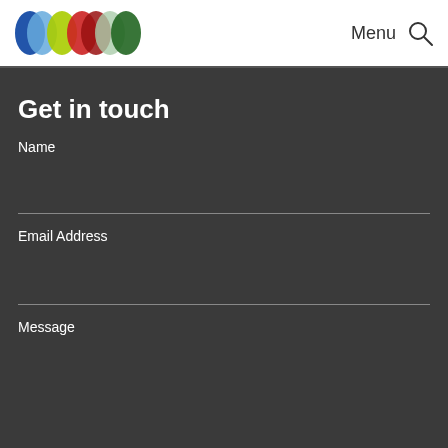[Figure (logo): Colorful overlapping circles logo in blue, light blue, yellow-green, red, dark red, light green, green colors]
Menu
[Figure (other): Search magnifying glass icon]
Get in touch
Name
Email Address
Message